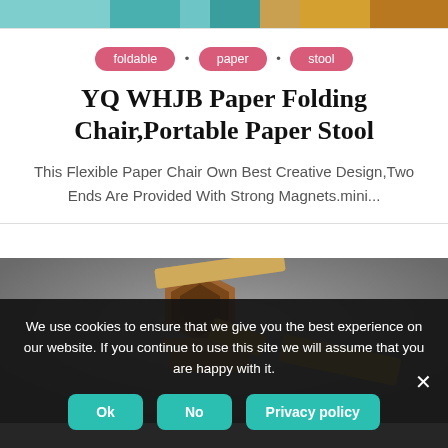[Figure (photo): Top decorative image strip with teal/turquoise and wooden tones]
foldable
paper
stool
YQ WHJB Paper Folding Chair,Portable Paper Stool
This Flexible Paper Chair Own Best Creative Design,Two Ends Are Provided With Strong Magnets.mini...
[Figure (photo): Photo of wooden geometric/puzzle pieces stacked on a gray background]
We use cookies to ensure that we give you the best experience on our website. If you continue to use this site we will assume that you are happy with it.
Ok  No  Privacy policy